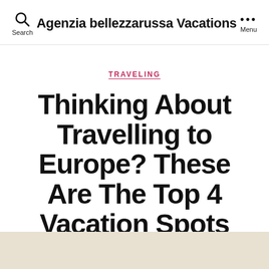Agenzia bellezzarussa Vacations
TRAVELING
Thinking About Travelling to Europe? These Are The Top 4 Vacation Spots
By agenzia-belle   December 19, 2015